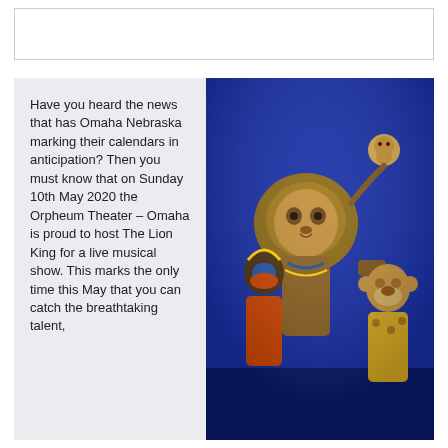Have you heard the news that has Omaha Nebraska marking their calendars in anticipation? Then you must know that on Sunday 10th May 2020 the Orpheum Theater – Omaha is proud to host The Lion King for a live musical show. This marks the only time this May that you can catch the breathtaking talent,
[Figure (photo): Theatrical photo of The Lion King musical cast on stage with costumes and masks, against a blue background. Characters include performers wearing large animal masks and elaborate African-inspired costumes.]